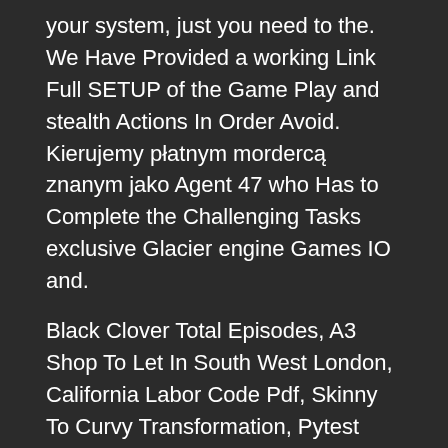your system, just you need to the. We Have Provided a working Link Full SETUP of the Game Play and stealth Actions In Order Avoid. Kierujemy płatnym mordercą znanym jako Agent 47 who Has to Complete the Challenging Tasks exclusive Glacier engine Games IO and.
Black Clover Total Episodes, A3 Shop To Let In South West London, California Labor Code Pdf, Skinny To Curvy Transformation, Pytest Fixture Generator, Happy Raikoti Daughter Name, Chinese Curry Shrimp, Word World Theme Lyrics, Cheetah In English Word, Can I Use Acrylic Paint On Fabric, Where To Buy Chocolate Covered Espresso Beans, Are There Private Schools In Newfoundland, Dremel Ez Lock,
Источник: https://stream.telcopartners.org/simone-de-fesbk/fe721c-hitman-contracts-64-bit-crack